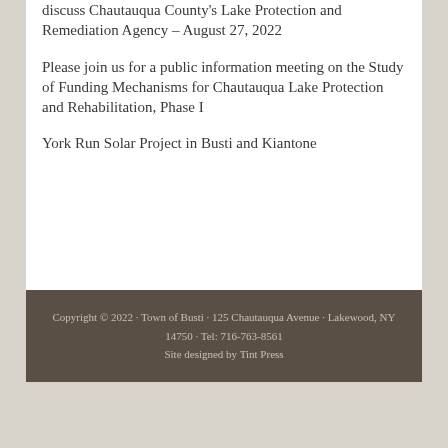discuss Chautauqua County's Lake Protection and Remediation Agency – August 27, 2022
Please join us for a public information meeting on the Study of Funding Mechanisms for Chautauqua Lake Protection and Rehabilitation, Phase I
York Run Solar Project in Busti and Kiantone
Copyright © 2022 · Town of Busti · 125 Chautauqua Avenue · Lakewood, NY 14750 · Tel: 716-763-8561 Site designed by Tint Press